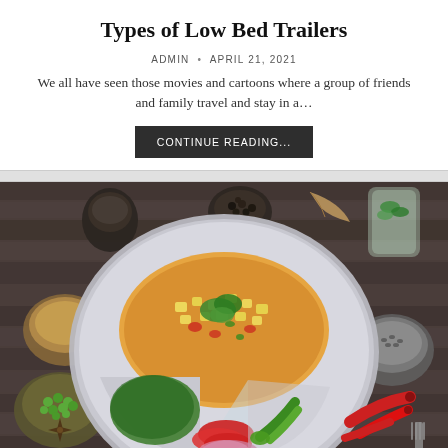Types of Low Bed Trailers
ADMIN • APRIL 21, 2021
We all have seen those movies and cartoons where a group of friends and family travel and stay in a...
CONTINUE READING...
[Figure (photo): Overhead view of an Indian thali (steel plate with compartments) containing a curry dish with paneer and vegetables, garnished with cilantro, surrounded by various spices, green olives, red chilies, tomatoes, and fresh herbs on a dark wooden surface.]